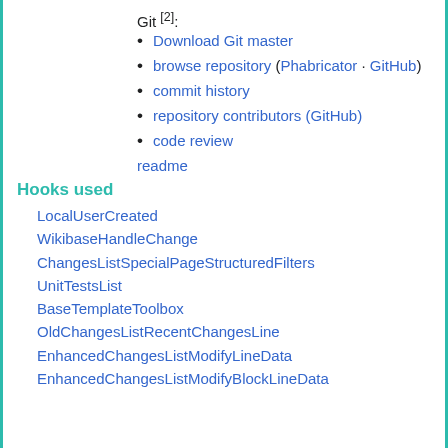Git [2]:
Download Git master
browse repository (Phabricator · GitHub)
commit history
repository contributors (GitHub)
code review
readme
Hooks used
LocalUserCreated
WikibaseHandleChange
ChangesListSpecialPageStructuredFilters
UnitTestsList
BaseTemplateToolbox
OldChangesListRecentChangesLine
EnhancedChangesListModifyLineData
EnhancedChangesListModifyBlockLineData